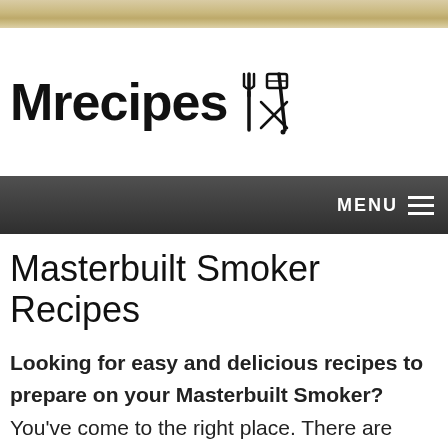[Figure (illustration): Textured sandy/stone colored decorative bar at top of page]
Mrecipes (with fork and spatula icon)
MENU ≡
Masterbuilt Smoker Recipes
Looking for easy and delicious recipes to prepare on your Masterbuilt Smoker? You've come to the right place. There are several types of Masterbuilt smokers available. Charcoal, propane, and both analog and digital electric. All our recipes include directions at least for the Masterbuilt electric smoker which is by far the most popular but we'll try to include directions for other smokers as